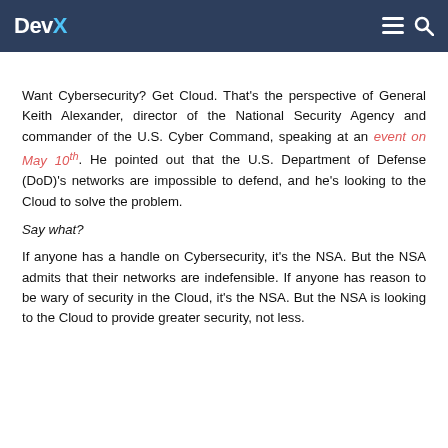DevX
Want Cybersecurity? Get Cloud. That's the perspective of General Keith Alexander, director of the National Security Agency and commander of the U.S. Cyber Command, speaking at an event on May 10th. He pointed out that the U.S. Department of Defense (DoD)'s networks are impossible to defend, and he's looking to the Cloud to solve the problem.
Say what?
If anyone has a handle on Cybersecurity, it's the NSA. But the NSA admits that their networks are indefensible. If anyone has reason to be wary of security in the Cloud, it's the NSA. But the NSA is looking to the Cloud to provide greater security, not less.